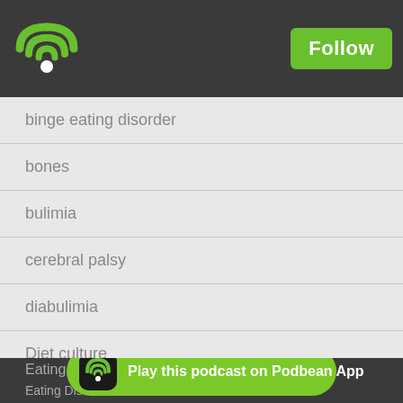Podbean logo and Follow button
binge eating disorder
bones
bulimia
cerebral palsy
diabulimia
Diet culture
diet culture
dietary restriction
dietitian
Eating Dis... / Eating Disorder Treatment...
[Figure (logo): Play this podcast on Podbean App banner]